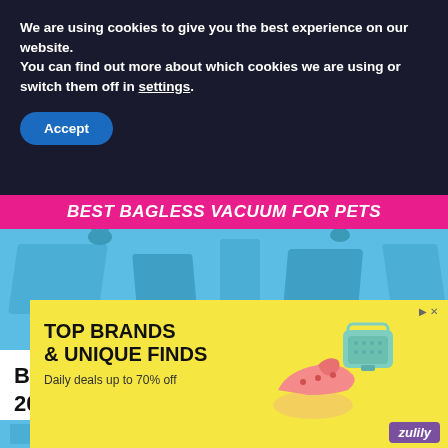We are using cookies to give you the best experience on our website.
You can find out more about which cookies we are using or switch them off in settings.
Accept
[Figure (photo): Hero image with pink/magenta banner text reading BEST BAGLESS VACUUM FOR PETS over a blue background showing vacuum cleaner with pet-related imagery]
Best Bagless Vacuum For Pet Hair in 2022
[Figure (photo): Partial blue image strip at bottom]
[Figure (infographic): Advertisement banner with yellow background. Text: TOP BRANDS & UNIQUE FINDS, Daily deals up to 70% off. Zulily logo. Shoes and purse illustration.]